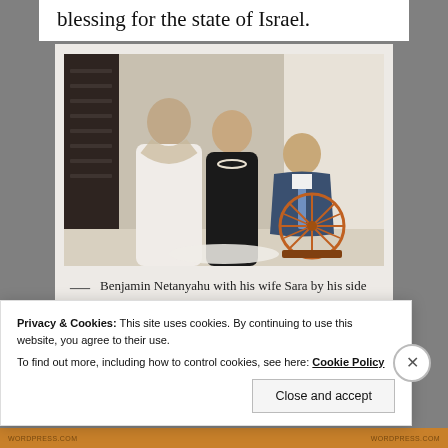blessing for the state of Israel.
[Figure (photo): Benjamin Netanyahu sitting cross-legged at a spinning wheel with his wife Sara standing beside him, and Indian Prime Minister Narendra Modi standing in the background near a doorway.]
— Benjamin Netanyahu with his wife Sara by his side tries his hand at a spinning
Privacy & Cookies: This site uses cookies. By continuing to use this website, you agree to their use.
To find out more, including how to control cookies, see here: Cookie Policy
Close and accept